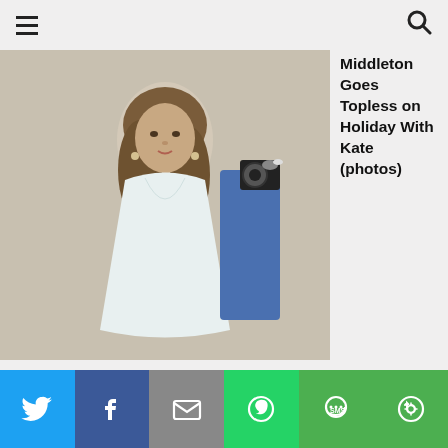Navigation header with hamburger menu and search icon
[Figure (photo): Woman in a low-cut light blue/white dress, with long brown hair, at a formal event. Another person with a camera visible in background.]
Middleton Goes Topless on Holiday With Kate (photos)
MORE TOP POSTS
[Figure (photo): Black and white film still showing several men in tuxedos, one wearing a military/chauffeur cap.]
Social sharing bar: Twitter, Facebook, Email, WhatsApp, SMS, More